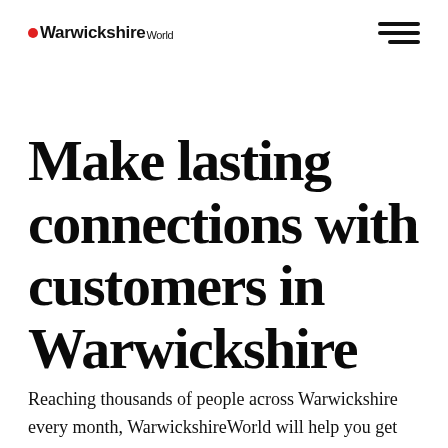WarwickshireWorld
Make lasting connections with customers in Warwickshire
Reaching thousands of people across Warwickshire every month, WarwickshireWorld will help you get the right